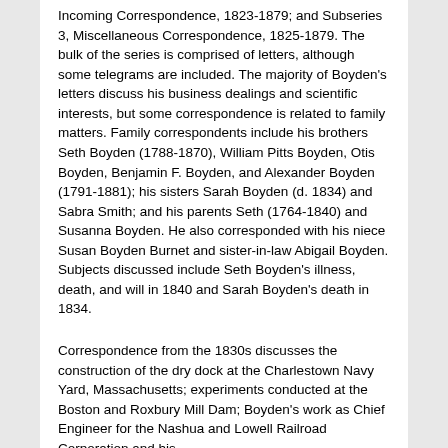Incoming Correspondence, 1823-1879; and Subseries 3, Miscellaneous Correspondence, 1825-1879. The bulk of the series is comprised of letters, although some telegrams are included. The majority of Boyden's letters discuss his business dealings and scientific interests, but some correspondence is related to family matters. Family correspondents include his brothers Seth Boyden (1788-1870), William Pitts Boyden, Otis Boyden, Benjamin F. Boyden, and Alexander Boyden (1791-1881); his sisters Sarah Boyden (d. 1834) and Sabra Smith; and his parents Seth (1764-1840) and Susanna Boyden. He also corresponded with his niece Susan Boyden Burnet and sister-in-law Abigail Boyden. Subjects discussed include Seth Boyden's illness, death, and will in 1840 and Sarah Boyden's death in 1834.
Correspondence from the 1830s discusses the construction of the dry dock at the Charlestown Navy Yard, Massachusetts; experiments conducted at the Boston and Roxbury Mill Dam; Boyden's work as Chief Engineer for the Nashua and Lowell Railroad Corporation and his